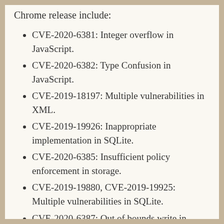Chrome release include:
CVE-2020-6381: Integer overflow in JavaScript.
CVE-2020-6382: Type Confusion in JavaScript.
CVE-2019-18197: Multiple vulnerabilities in XML.
CVE-2019-19926: Inappropriate implementation in SQLite.
CVE-2020-6385: Insufficient policy enforcement in storage.
CVE-2019-19880, CVE-2019-19925: Multiple vulnerabilities in SQLite.
CVE-2020-6387: Out of bounds write in WebRTC.